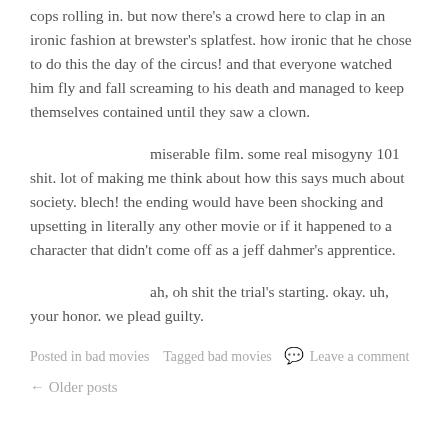cops rolling in. but now there's a crowd here to clap in an ironic fashion at brewster's splatfest. how ironic that he chose to do this the day of the circus! and that everyone watched him fly and fall screaming to his death and managed to keep themselves contained until they saw a clown.
miserable film. some real misogyny 101 shit. lot of making me think about how this says much about society. blech! the ending would have been shocking and upsetting in literally any other movie or if it happened to a character that didn't come off as a jeff dahmer's apprentice.
ah, oh shit the trial's starting. okay. uh, your honor. we plead guilty.
Posted in bad movies   Tagged bad movies  💬 Leave a comment
← Older posts